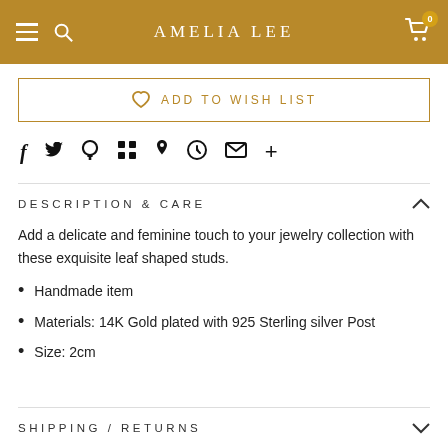AMELIA LEE
ADD TO WISH LIST
DESCRIPTION & CARE
Add a delicate and feminine touch to your jewelry collection with these exquisite leaf shaped studs.
Handmade item
Materials: 14K Gold plated with 925 Sterling silver Post
Size: 2cm
SHIPPING / RETURNS